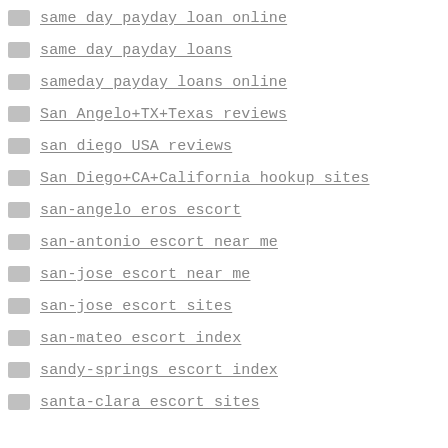same day payday loan online
same day payday loans
sameday payday loans online
San Angelo+TX+Texas reviews
san diego USA reviews
San Diego+CA+California hookup sites
san-angelo eros escort
san-antonio escort near me
san-jose escort near me
san-jose escort sites
san-mateo escort index
sandy-springs escort index
santa-clara escort sites